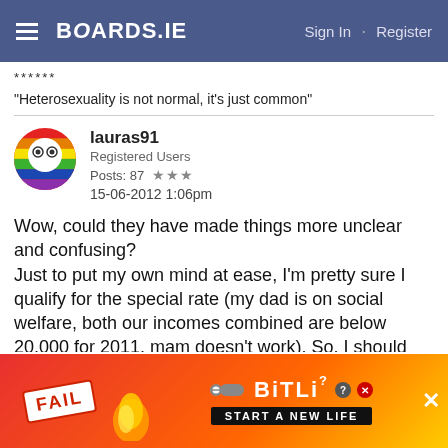BOARDS.IE  Sign In · Register
******
"Heterosexuality is not normal, it's just common"
lauras91
Registered Users
Posts: 87 ★★★
15-06-2012 1:06pm
Wow, could they have made things more unclear and confusing?
Just to put my own mind at ease, I'm pretty sure I qualify for the special rate (my dad is on social welfare, both our incomes combined are below 20,000 for 2011, mam doesn't work). So, I should get ALL fees paid for my masters?
[Figure (screenshot): Advertisement banner for BitLife mobile game showing FAIL badge, animated character, fire graphics, and 'START A NEW LIFE' text]